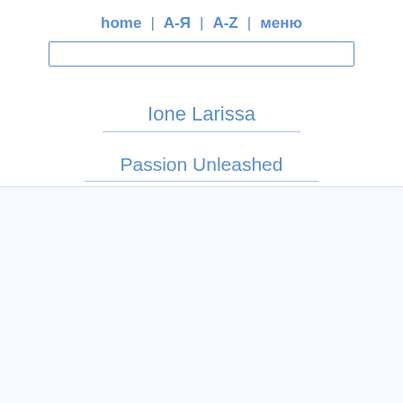home | А-Я | A-Z | меню
Ione Larissa
Passion Unleashed